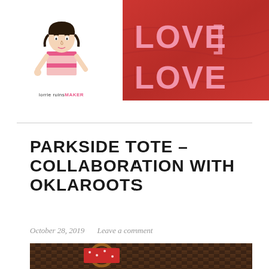[Figure (illustration): Hand-drawn illustration of a woman in a striped top with text 'lorrieruinsMAKER' below]
[Figure (photo): Red fabric/textile with white 'LOVE' letters, close-up photograph]
PARKSIDE TOTE – COLLABORATION WITH OKLAROOTS
October 28, 2019   Leave a comment
[Figure (photo): Wicker/rattan basket texture with red fabric item and wooden embroidery hoop]